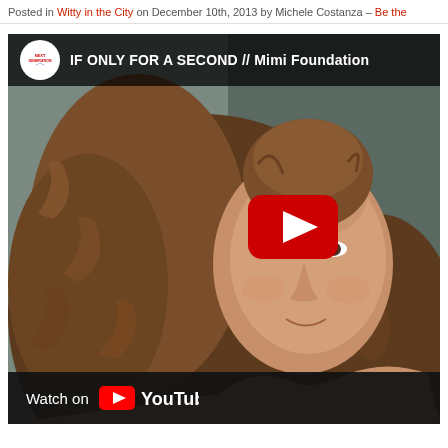Posted in Witty in the City on December 10th, 2013 by Michele Costanza – Be the...
[Figure (screenshot): YouTube video embed showing a woman with large curly hair lying down, looking at camera. Video title: 'IF ONLY FOR A SECOND // Mimi Foundation'. Shows YouTube play button overlay and 'Watch on YouTube' bar at bottom. Channel icon is a small circular logo labeled 'NEXTGENERATION'.]